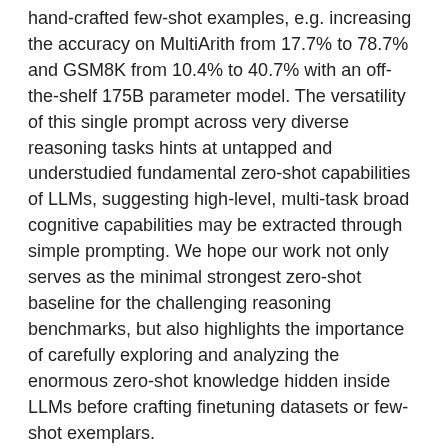hand-crafted few-shot examples, e.g. increasing the accuracy on MultiArith from 17.7% to 78.7% and GSM8K from 10.4% to 40.7% with an off-the-shelf 175B parameter model. The versatility of this single prompt across very diverse reasoning tasks hints at untapped and understudied fundamental zero-shot capabilities of LLMs, suggesting high-level, multi-task broad cognitive capabilities may be extracted through simple prompting. We hope our work not only serves as the minimal strongest zero-shot baseline for the challenging reasoning benchmarks, but also highlights the importance of carefully exploring and analyzing the enormous zero-shot knowledge hidden inside LLMs before crafting finetuning datasets or few-shot exemplars.
See my recent post, Arithmetic and Machine Learning, Part 2, and the arithmetic section of my ramble, Lazy Fridays, Peter Gärdenfors, RNA primer, arithmetic, about these hugely large language models.
Addendum 6.1.22: The folks at Eluthra AI are doing some interesting stuff, A Preliminary Exploration into Factored Cognition with Language Models. Not sure how effectively it overlaps with this issue, but they think about it...